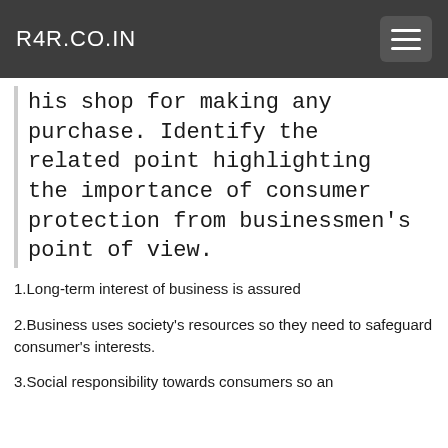R4R.CO.IN
his shop for making any purchase. Identify the related point highlighting the importance of consumer protection from businessmen’s point of view.
1.Long-term interest of business is assured
2.Business uses society's resources so they need to safeguard consumer's interests.
3.Social responsibility towards consumers so an